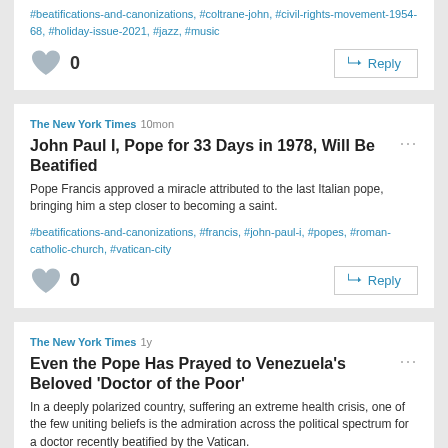#beatifications-and-canonizations, #coltrane-john, #holiday-issue-2021, #jazz, #music
[Figure (other): Heart/like icon (gray) with count 0 and Reply button]
The New York Times 10mon
John Paul I, Pope for 33 Days in 1978, Will Be Beatified
Pope Francis approved a miracle attributed to the last Italian pope, bringing him a step closer to becoming a saint.
#beatifications-and-canonizations, #francis, #john-paul-i, #popes, #roman-catholic-church, #vatican-city
[Figure (other): Heart/like icon (gray) with count 0 and Reply button]
The New York Times 1y
Even the Pope Has Prayed to Venezuela's Beloved 'Doctor of the Poor'
In a deeply polarized country, suffering an extreme health crisis, one of the few uniting beliefs is the admiration across the political spectrum for a doctor recently beatified by the Vatican.
#beatifications-and-canonizations, #caracas-venezuela, #coronavirus-2019-ncov, #francis, #hernandez-jose-gregorio-1864-1919, #hospitals, #isnotu-venezuela, #medicine-and-health, #monuments-and-memorials-structures